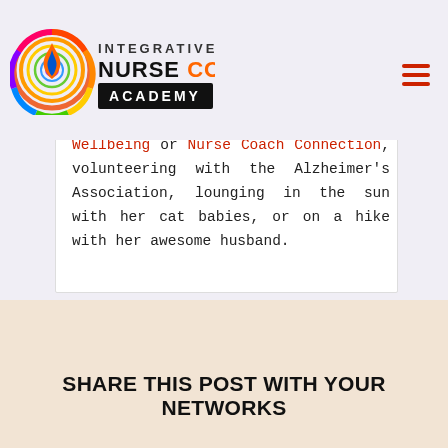[Figure (logo): Integrative Nurse Coach Academy logo with circular rainbow flame icon and text]
Nurses at Gratitude for Nurse Wellbeing or Nurse Coach Connection, volunteering with the Alzheimer's Association, lounging in the sun with her cat babies, or on a hike with her awesome husband.
SHARE THIS POST WITH YOUR NETWORKS